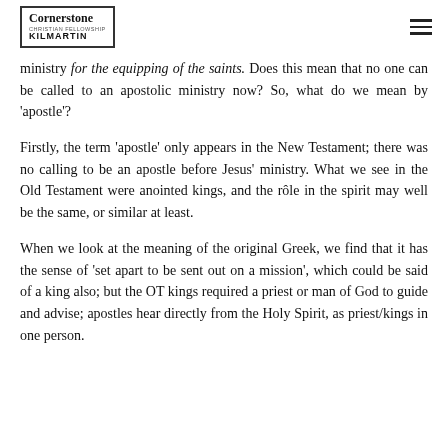Cornerstone Christian Fellowship Kilmartin
ministry for the equipping of the saints. Does this mean that no one can be called to an apostolic ministry now? So, what do we mean by ‘apostle’?
Firstly, the term ‘apostle’ only appears in the New Testament; there was no calling to be an apostle before Jesus’ ministry. What we see in the Old Testament were anointed kings, and the rôle in the spirit may well be the same, or similar at least.
When we look at the meaning of the original Greek, we find that it has the sense of ‘set apart to be sent out on a mission’, which could be said of a king also; but the OT kings required a priest or man of God to guide and advise; apostles hear directly from the Holy Spirit, as priest/kings in one person.